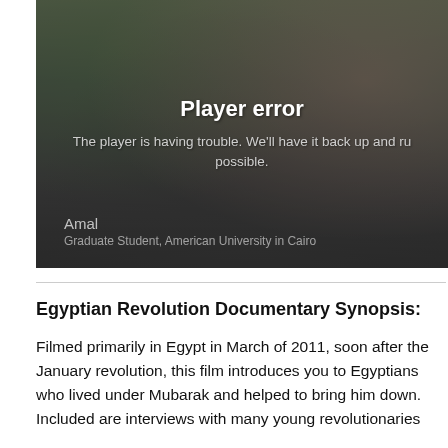[Figure (screenshot): Video player showing a woman's face with trees and a building in the background. An error overlay reads 'Player error' and 'The player is having trouble. We'll have it back up and running as soon as possible.' A subtitle at the bottom left reads 'Amal / Graduate Student, American University in Cairo'.]
Egyptian Revolution Documentary Synopsis:
Filmed primarily in Egypt in March of 2011, soon after the January revolution, this film introduces you to Egyptians who lived under Mubarak and helped to bring him down. Included are interviews with many young revolutionaries